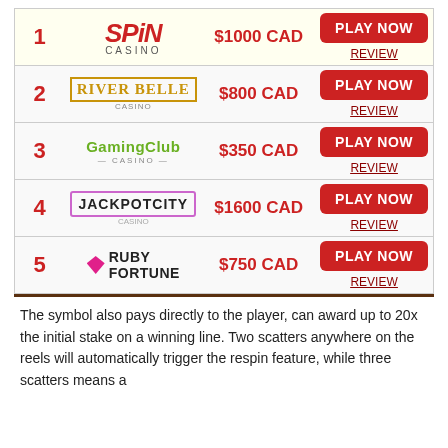| Rank | Casino | Bonus | Action |
| --- | --- | --- | --- |
| 1 | Spin Casino | $1000 CAD | PLAY NOW / REVIEW |
| 2 | River Belle Casino | $800 CAD | PLAY NOW / REVIEW |
| 3 | Gaming Club Casino | $350 CAD | PLAY NOW / REVIEW |
| 4 | JackpotCity | $1600 CAD | PLAY NOW / REVIEW |
| 5 | Ruby Fortune | $750 CAD | PLAY NOW / REVIEW |
The symbol also pays directly to the player, can award up to 20x the initial stake on a winning line. Two scatters anywhere on the reels will automatically trigger the respin feature, while three scatters means a